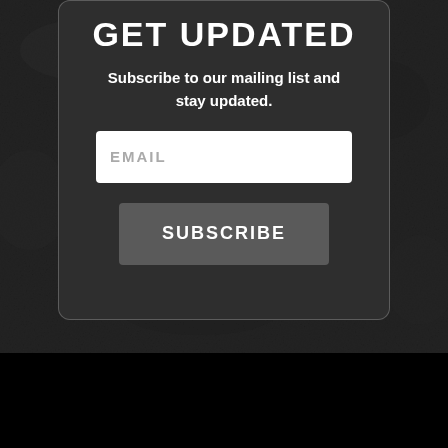GET UPDATED
Subscribe to our mailing list and stay updated.
EMAIL
SUBSCRIBE